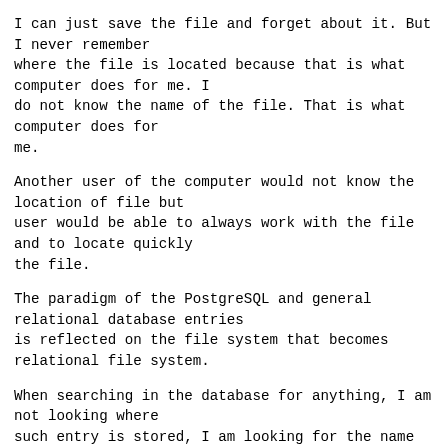I can just save the file and forget about it. But I never remember
where the file is located because that is what computer does for me. I
do not know the name of the file. That is what computer does for
me.
Another user of the computer would not know the location of file but
user would be able to always work with the file and to locate quickly
the file.
The paradigm of the PostgreSQL and general relational database entries
is reflected on the file system that becomes relational file system.
When searching in the database for anything, I am not looking where
such entry is stored, I am looking for the name or other meaning
related to the entry. Then I can find all other pieces of information
related to that entry.
Filing on file system and general filing of any pieces of information